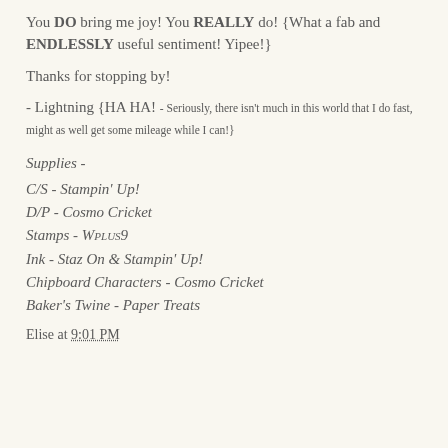You DO bring me joy! You REALLY do! {What a fab and ENDLESSLY useful sentiment! Yipee!}
Thanks for stopping by!
- Lightning {HA HA! - Seriously, there isn't much in this world that I do fast, might as well get some mileage while I can!}
Supplies -
C/S - Stampin' Up!
D/P - Cosmo Cricket
Stamps - Wplus9
Ink - Staz On & Stampin' Up!
Chipboard Characters - Cosmo Cricket
Baker's Twine - Paper Treats
Elise at 9:01 PM